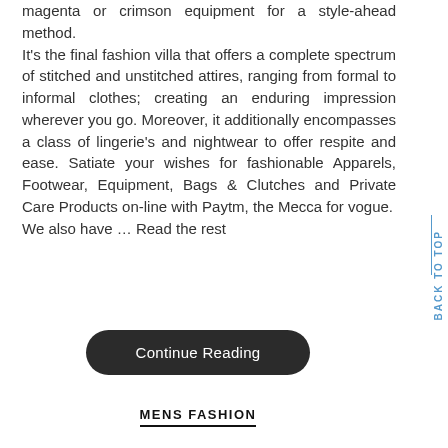magenta or crimson equipment for a style-ahead method. It's the final fashion villa that offers a complete spectrum of stitched and unstitched attires, ranging from formal to informal clothes; creating an enduring impression wherever you go. Moreover, it additionally encompasses a class of lingerie's and nightwear to offer respite and ease. Satiate your wishes for fashionable Apparels, Footwear, Equipment, Bags & Clutches and Private Care Products on-line with Paytm, the Mecca for vogue.
We also have … Read the rest
Continue Reading
MENS FASHION